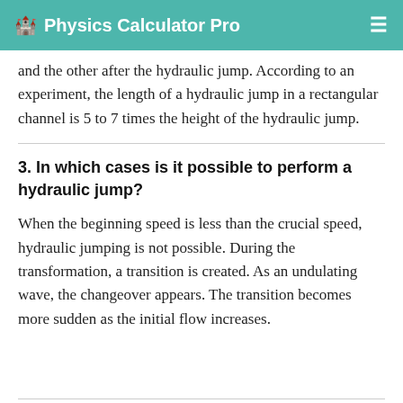Physics Calculator Pro
and the other after the hydraulic jump. According to an experiment, the length of a hydraulic jump in a rectangular channel is 5 to 7 times the height of the hydraulic jump.
3. In which cases is it possible to perform a hydraulic jump?
When the beginning speed is less than the crucial speed, hydraulic jumping is not possible. During the transformation, a transition is created. As an undulating wave, the changeover appears. The transition becomes more sudden as the initial flow increases.